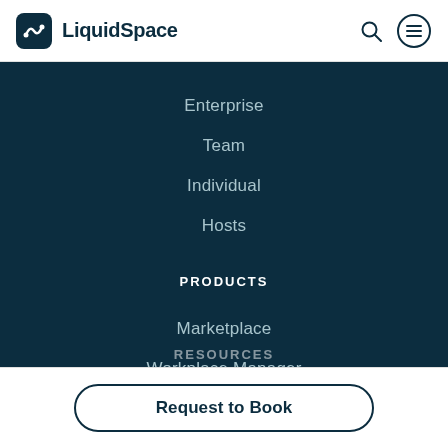LiquidSpace
Enterprise
Team
Individual
Hosts
PRODUCTS
Marketplace
Workplace Manager
Venue Manager
Connect Integrations
RESOURCES
Request to Book